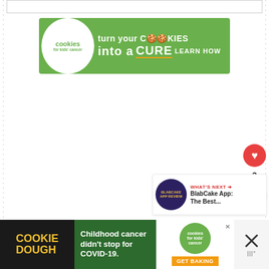[Figure (screenshot): Top white box border element]
[Figure (infographic): Green advertisement banner: 'turn your COOKIES into a CURE LEARN HOW' for Cookies for Kids Cancer charity]
[Figure (screenshot): White content area (blank)]
[Figure (infographic): Red heart like button with count of 3 and share button on right side]
[Figure (infographic): What's Next panel with BlabCake App thumbnail and text 'BlabCake App: The Best...']
[Figure (infographic): Bottom advertisement bar: Cookie Dough / Childhood cancer didn't stop for COVID-19 / Cookies for Kids Cancer GET BAKING / close X button]